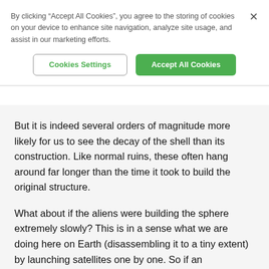By clicking “Accept All Cookies”, you agree to the storing of cookies on your device to enhance site navigation, analyze site usage, and assist in our marketing efforts.
Cookies Settings
Accept All Cookies
But it is indeed several orders of magnitude more likely for us to see the decay of the shell than its construction. Like normal ruins, these often hang around far longer than the time it took to build the original structure.
What about if the aliens were building the sphere extremely slowly? This is in a sense what we are doing here on Earth (disassembling it to a tiny extent) by launching satellites one by one. So if an